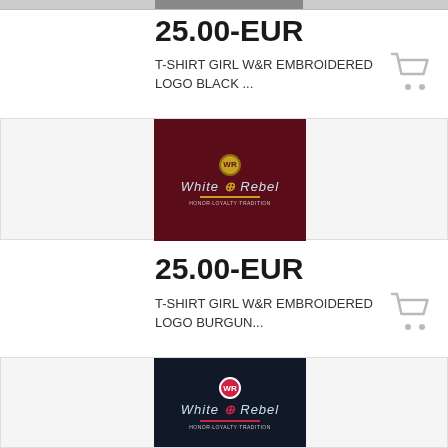[Figure (photo): Partial top strip showing cropped product images from previous listing]
25.00-EUR
T-SHIRT GIRL W&R EMBROIDERED LOGO BLACK ...
[Figure (photo): Burgundy/dark red folded t-shirt with White Rebel embroidered logo and Honor-Loyalty-Tradition text]
25.00-EUR
T-SHIRT GIRL W&R EMBROIDERED LOGO BURGUN...
[Figure (photo): Navy/black folded t-shirt with White Rebel embroidered logo and Honor-Loyalty-Tradition text, partially visible]